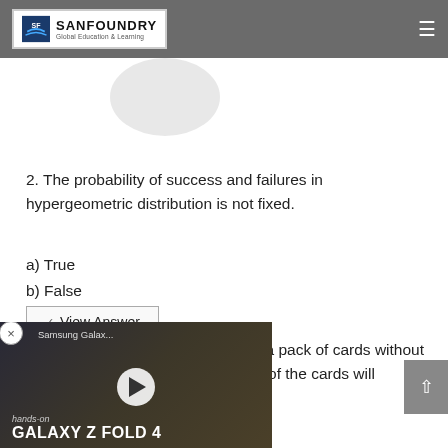SANFOUNDRY – Global Education & Learning
2. The probability of success and failures in hypergeometric distribution is not fixed.
a) True
b) False
View Answer
3. Consider selecting 6 cards from a pack of cards without [replacement. Find the probability that 3 of the cards will...]
[Figure (screenshot): Samsung Galaxy Z Fold 4 advertisement video overlay with play button]
d) 0.5430
View Answer